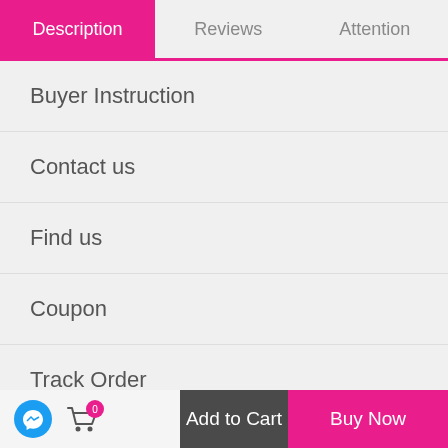Description | Reviews | Attention
Buyer Instruction
Contact us
Find us
Coupon
Track Order
[Figure (infographic): Navigation icons row: Home (house icon in circle), Costumes Video (store icon in circle), Log In (person icon in circle), with scroll-to-top arrow button in top right]
Messenger icon | Cart (0) | Add to Cart | Buy Now